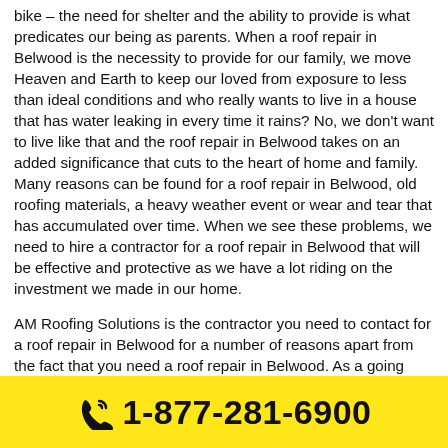bike – the need for shelter and the ability to provide is what predicates our being as parents. When a roof repair in Belwood is the necessity to provide for our family, we move Heaven and Earth to keep our loved from exposure to less than ideal conditions and who really wants to live in a house that has water leaking in every time it rains? No, we don't want to live like that and the roof repair in Belwood takes on an added significance that cuts to the heart of home and family. Many reasons can be found for a roof repair in Belwood, old roofing materials, a heavy weather event or wear and tear that has accumulated over time. When we see these problems, we need to hire a contractor for a roof repair in Belwood that will be effective and protective as we have a lot riding on the investment we made in our home.
AM Roofing Solutions is the contractor you need to contact for a roof repair in Belwood for a number of reasons apart from the fact that you need a roof repair in Belwood. As a going concern in the roofing industry, our company has been plying our trade since the 1950's – that's right, before colour TV and the Internet – and over the course of
☎ 1-877-281-6900